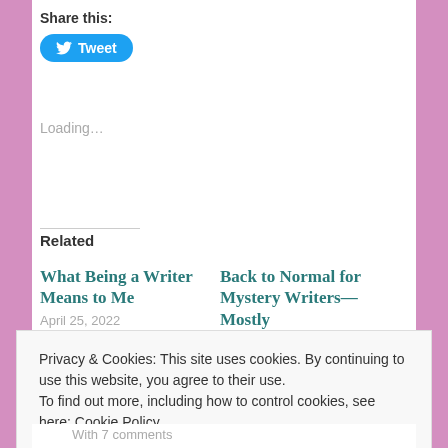Share this:
[Figure (other): Tweet button with Twitter bird icon]
Loading...
Related
What Being a Writer Means to Me
April 25, 2022
Back to Normal for Mystery Writers—Mostly
Privacy & Cookies: This site uses cookies. By continuing to use this website, you agree to their use.
To find out more, including how to control cookies, see here: Cookie Policy
Close and accept
With 7 comments